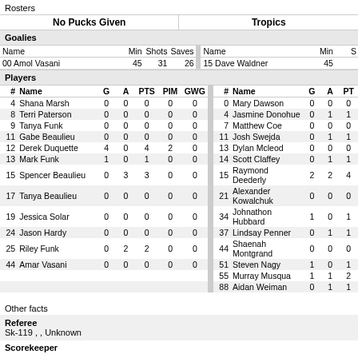Rosters
| # | Name | G | A | PTS | PIM | GWG | # | Name | G | A | PTS |
| --- | --- | --- | --- | --- | --- | --- | --- | --- | --- | --- | --- |
| 00 | Amol Vasani | 45 | 31 | 26 |  |  | 15 | Dave Waldner | 45 |  |  |
| 4 | Shana Marsh | 0 | 0 | 0 | 0 | 0 | 0 | Mary Dawson | 0 | 0 | 0 |
| 8 | Terri Paterson | 0 | 0 | 0 | 0 | 0 | 4 | Jasmine Donohue | 0 | 1 | 1 |
| 9 | Tanya Funk | 0 | 0 | 0 | 0 | 0 | 7 | Matthew Coe | 0 | 0 | 0 |
| 11 | Gabe Beaulieu | 0 | 0 | 0 | 0 | 0 | 11 | Josh Swejda | 0 | 1 | 1 |
| 12 | Derek Duquette | 4 | 0 | 4 | 2 | 0 | 13 | Dylan Mcleod | 0 | 0 | 0 |
| 13 | Mark Funk | 1 | 0 | 1 | 0 | 0 | 14 | Scott Claffey | 0 | 1 | 1 |
| 15 | Spencer Beaulieu | 0 | 3 | 3 | 0 | 0 | 15 | Raymond Deederly | 2 | 2 | 4 |
| 17 | Tanya Beaulieu | 0 | 0 | 0 | 0 | 0 | 21 | Alexander Kowalchuk | 0 | 0 | 0 |
| 19 | Jessica Solar | 0 | 0 | 0 | 0 | 0 | 34 | Johnathon Hubbard | 1 | 0 | 1 |
| 24 | Jason Hardy | 0 | 0 | 0 | 0 | 0 | 37 | Lindsay Penner | 0 | 1 | 1 |
| 25 | Riley Funk | 0 | 2 | 2 | 0 | 0 | 44 | Shaenah Montgrand | 0 | 0 | 0 |
| 44 | Amar Vasani | 0 | 0 | 0 | 0 | 0 | 51 | Steven Nagy | 1 | 0 | 1 |
|  |  |  |  |  |  |  | 55 | Murray Musqua | 1 | 1 | 2 |
|  |  |  |  |  |  |  | 88 | Aidan Weiman | 0 | 1 | 1 |
Other facts
Referee
Sk-119 , , Unknown
Scorekeeper